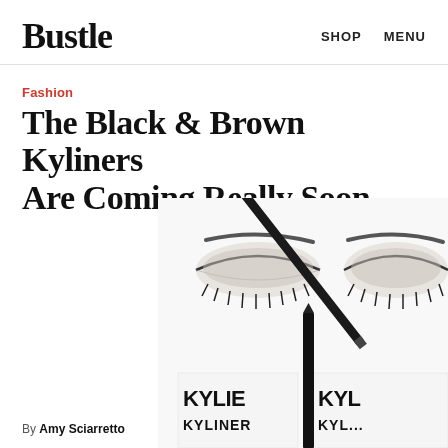Bustle   SHOP   MENU
Fashion
The Black & Brown Kyliners Are Coming Really Soon
[Figure (photo): Black and white photo of Kylie Kyliner eyeliner pencils displayed against a background showing closed eyes with long lashes. The packaging reads 'KYLIE KYLINER'.]
By Amy Sciarretto